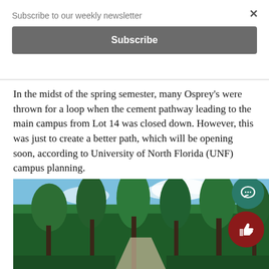Subscribe to our weekly newsletter
Subscribe
In the midst of the spring semester, many Osprey's were thrown for a loop when the cement pathway leading to the main campus from Lot 14 was closed down. However, this was just to create a better path, which will be opening soon, according to University of North Florida (UNF) campus planning.
[Figure (photo): Photograph of tall pine trees along a pathway on the UNF campus against a blue sky with clouds]